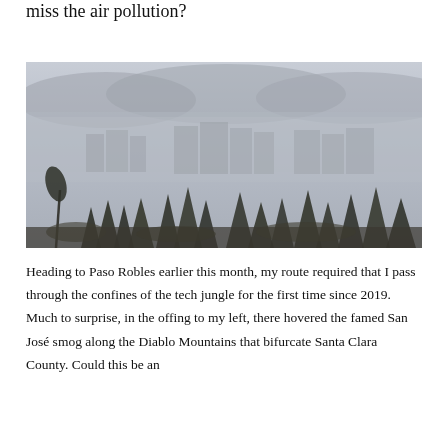miss the air pollution?
[Figure (photo): A hazy smog-filled skyline of San José showing buildings obscured by thick grey-brown smog, with dark conifer trees in the foreground and rolling mountains barely visible through the haze in the background.]
Heading to Paso Robles earlier this month, my route required that I pass through the confines of the tech jungle for the first time since 2019. Much to surprise, in the offing to my left, there hovered the famed San José smog along the Diablo Mountains that bifurcate Santa Clara County. Could this be an